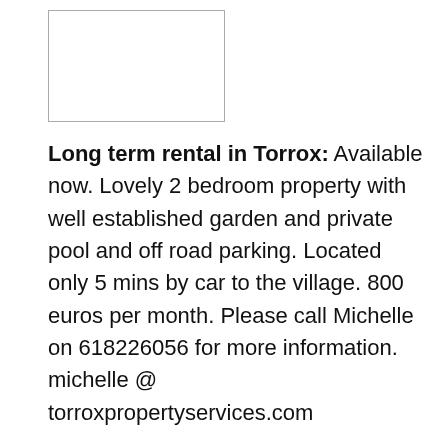[Figure (other): Empty white rectangle with border, likely a placeholder for a photo]
Long term rental in Torrox: Available now. Lovely 2 bedroom property with well established garden and private pool and off road parking. Located only 5 mins by car to the village. 800 euros per month. Please call Michelle on 618226056 for more information. michelle @ torroxpropertyservices.com
For Sale: Mitsubishi Montero Sport, Diesel 2.5, Dark blue/Grey trim, genuine 43,200 miles (69,500km), 2004, electric windows/antennae/mirrors, 6-cd player, dog-